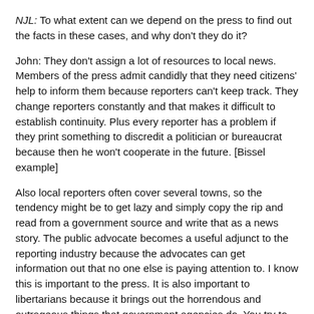NJL: To what extent can we depend on the press to find out the facts in these cases, and why don't they do it?
John: They don't assign a lot of resources to local news. Members of the press admit candidly that they need citizens' help to inform them because reporters can't keep track. They change reporters constantly and that makes it difficult to establish continuity. Plus every reporter has a problem if they print something to discredit a politician or bureaucrat because then he won't cooperate in the future. [Bissel example]
Also local reporters often cover several towns, so the tendency might be to get lazy and simply copy the rip and read from a government source and write that as a news story. The public advocate becomes a useful adjunct to the reporting industry because the advocates can get information out that no one else is paying attention to. I know this is important to the press. It is also important to libertarians because it brings out the horrendous and outrageous things that government agencies do. You try to show every time how the system crashes and that brings out a more fair picture of what these agencies do. That's why it's important. It's not a goody two shoes civics lesson, it's an exercise finding out what these people are actually doing with your money and their power.
NJL: I know how from my experience in working with attorney Walter Luers, I determined that Fish and Wildlife Division of the Department